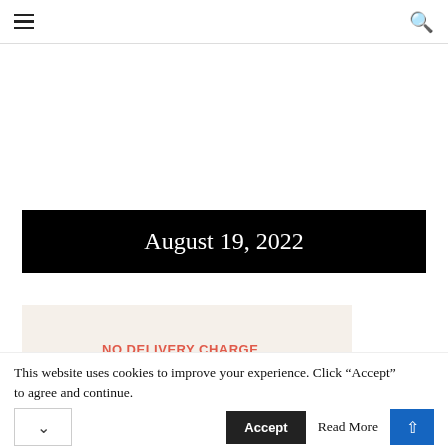Navigation bar with hamburger menu and search icon
August 19, 2022
[Figure (infographic): Advertisement banner: NO DELIVERY CHARGE ON YOUR FIRST ORDER]
This website uses cookies to improve your experience. Click "Accept" to agree and continue.
Accept   Read More